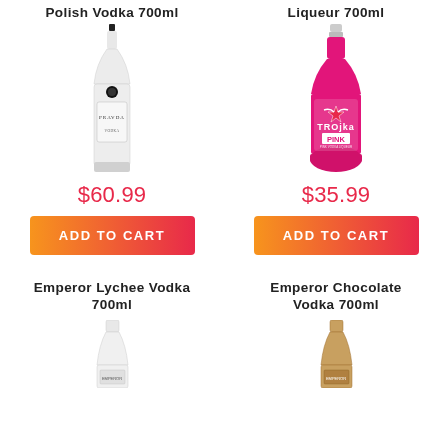Polish Vodka 700ml
[Figure (photo): Pravda Polish Vodka 700ml bottle - clear glass bottle with black label]
$60.99
ADD TO CART
Liqueur 700ml
[Figure (photo): Trojka Pink Liqueur 700ml bottle - pink bottle with star logo]
$35.99
ADD TO CART
Emperor Lychee Vodka 700ml
Emperor Chocolate Vodka 700ml
[Figure (photo): Emperor Lychee Vodka 700ml bottle - partial view]
[Figure (photo): Emperor Chocolate Vodka 700ml bottle - partial view]